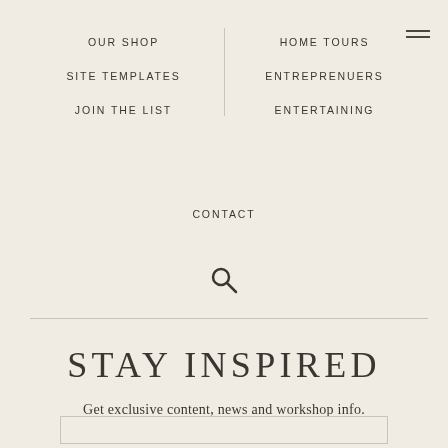OUR SHOP
HOME TOURS
SITE TEMPLATES
ENTREPRENUERS
JOIN THE LIST
ENTERTAINING
CONTACT
[Figure (other): Search icon (magnifying glass)]
STAY INSPIRED
Get exclusive content, news and workshop info.